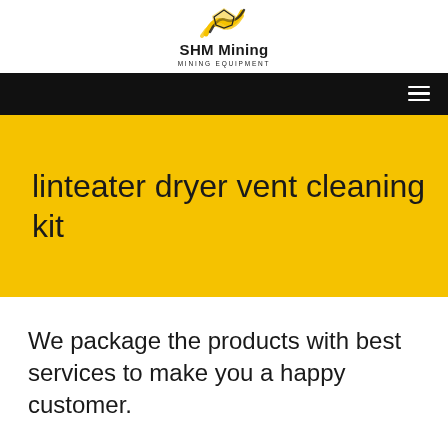[Figure (logo): SHM Mining logo with yellow and black honeycomb/wave icon, brand name 'SHM Mining' and tagline 'MINING EQUIPMENT']
[Figure (other): Black navigation bar with white hamburger menu icon on the right]
linteater dryer vent cleaning kit
We package the products with best services to make you a happy customer.